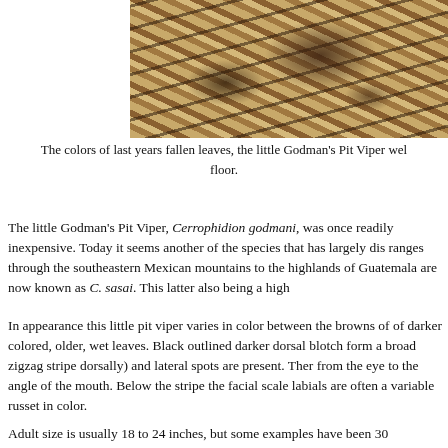[Figure (photo): Close-up photograph of a Godman's Pit Viper camouflaged among fallen leaves, showing its brown and dark blotched pattern blending with dried leaf litter on the forest floor.]
The colors of last years fallen leaves, the little Godman's Pit Viper well on the forest floor.
The little Godman's Pit Viper, Cerrophidion godmani, was once readily inexpensive. Today it seems another of the species that has largely disappeared. It ranges through the southeastern Mexican mountains to the highlands of Guatemala are now known as C. sasai. This latter also being a high...
In appearance this little pit viper varies in color between the browns of darker colored, older, wet leaves. Black outlined darker dorsal blotches (which form a broad zigzag stripe dorsally) and lateral spots are present. There is a stripe from the eye to the angle of the mouth. Below the stripe the facial scales and labials are often a variable russet in color.
Adult size is usually 18 to 24 inches, but some examples have been 30...